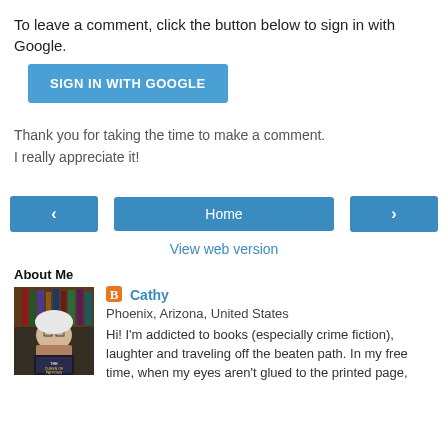To leave a comment, click the button below to sign in with Google.
[Figure (other): Blue 'SIGN IN WITH GOOGLE' button]
Thank you for taking the time to make a comment.
I really appreciate it!
[Figure (other): Navigation row: left arrow button, Home button, right arrow button]
View web version
About Me
[Figure (photo): Profile photo of Cathy, an older woman with white hair holding a book titled 'The Queen of Patpong']
Cathy
Phoenix, Arizona, United States
Hi! I'm addicted to books (especially crime fiction), laughter and traveling off the beaten path. In my free time, when my eyes aren't glued to the printed page,